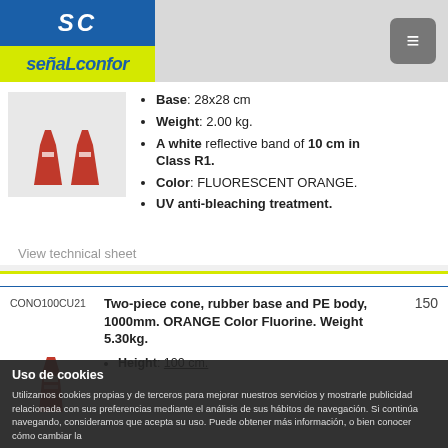[Figure (logo): Señalconfor logo with SC initials on blue background and brand name on yellow background]
Base: 28x28 cm
Weight: 2.00 kg.
A white reflective band of 10 cm in Class R1.
Color: FLUORESCENT ORANGE.
UV anti-bleaching treatment.
View technical sheet
CONO100CU21
Two-piece cone, rubber base and PE body, 1000mm. ORANGE Color Fluorine. Weight 5.30kg.
150
Height: 100 cm.
Uso de cookies
Utilizamos cookies propias y de terceros para mejorar nuestros servicios y mostrarle publicidad relacionada con sus preferencias mediante el análisis de sus hábitos de navegación. Si continúa navegando, consideramos que acepta su uso. Puede obtener más información, o bien conocer cómo cambiar la